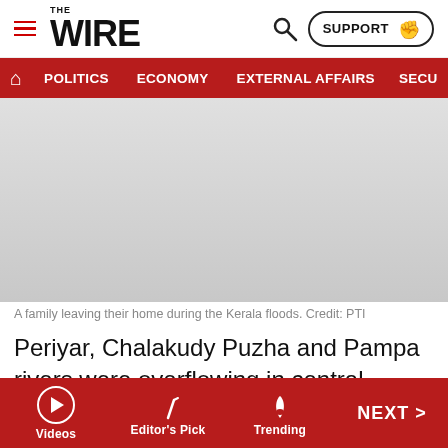THE WIRE — SUPPORT | POLITICS | ECONOMY | EXTERNAL AFFAIRS | SECU…
[Figure (photo): A family leaving their home during the Kerala floods.]
A family leaving their home during the Kerala floods. Credit: PTI
Periyar, Chalakudy Puzha and Pampa rivers were overflowing in central Kerala, while the water level in Killiyar, Karamanayar, Vamanapuram rivers and
Videos | Editor's Pick | Trending | NEXT >